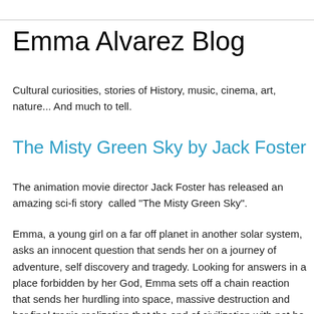Emma Alvarez Blog
Cultural curiosities, stories of History, music, cinema, art, nature... And much to tell.
The Misty Green Sky by Jack Foster
The animation movie director Jack Foster has released an amazing sci-fi story  called "The Misty Green Sky".
Emma, a young girl on a far off planet in another solar system, asks an innocent question that sends her on a journey of adventure, self discovery and tragedy. Looking for answers in a place forbidden by her God, Emma sets off a chain reaction that sends her hurdling into space, massive destruction and her final tragic realization that the end of civilization with not be brought on by aliens, extraterrestrial or forgiegn, not even by evil, the end of civilization will be